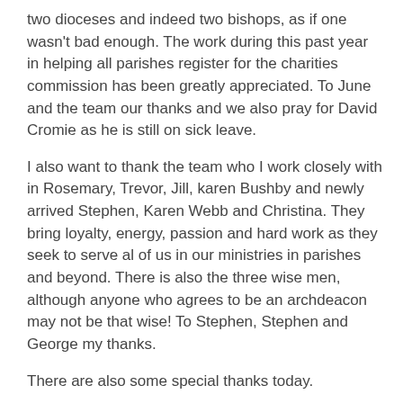two dioceses and indeed two bishops, as if one wasn't bad enough. The work during this past year in helping all parishes register for the charities commission has been greatly appreciated. To June and the team our thanks and we also pray for David Cromie as he is still on sick leave.
I also want to thank the team who I work closely with in Rosemary, Trevor, Jill, karen Bushby and newly arrived Stephen, Karen Webb and Christina. They bring loyalty, energy, passion and hard work as they seek to serve al of us in our ministries in parishes and beyond. There is also the three wise men, although anyone who agrees to be an archdeacon may not be that wise! To Stephen, Stephen and George my thanks.
There are also some special thanks today.
To Robert or Bob Kay as he has served as lay diocesan secretary for 30 years! A Connor record I am informed.